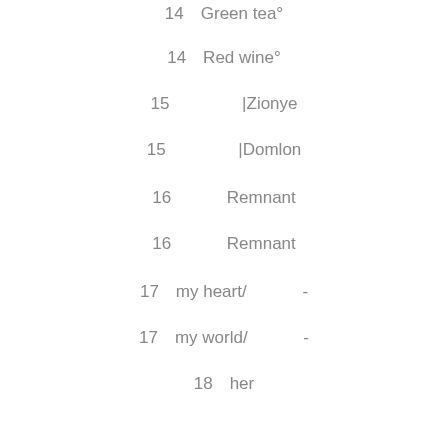14　Green tea°
14　Red wine°
15　　　 　|Zionye
15　　　 　|Domlon
16　　　 Remnant
16　　　 Remnant
17　my heart/ 　　　-
17　my world/ 　　　-
18　her
18　his
19　　　 cheeks - ▲